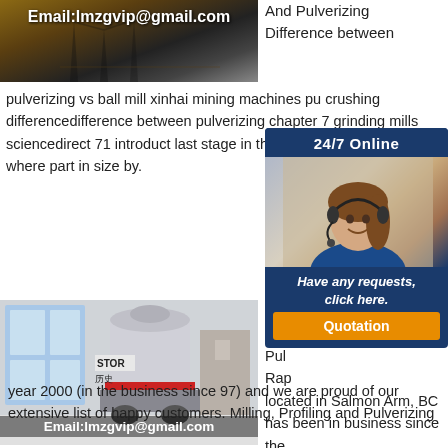[Figure (photo): Mining site photo with derrick/machinery silhouettes and orange/brown earth tones. Email:lmzgvip@gmail.com overlay.]
And Pulverizing Difference between
pulverizing vs ball mill xinhai mining machines pu crushing differencedifference between pulverizing chapter 7 grinding mills sciencedirect 71 introduct last stage in the comminution process where part in size by.
[Figure (photo): 24/7 Online chat widget with woman wearing headset, blue background, 'Have any requests, click here.' and orange Quotation button.]
[Figure (photo): Industrial machinery/mill in modern building interior. STOR sign visible. Email:lmzgvip@gmail.com overlay at bottom.]
Col Asp Pul Rap located in Salmon Arm, BC has been in business since the
year 2000 (in the business since 97) and we are proud of our extensive list of happy customers. Milling, Profiling and Pulverizing for a variety of high priority and consideration applications.